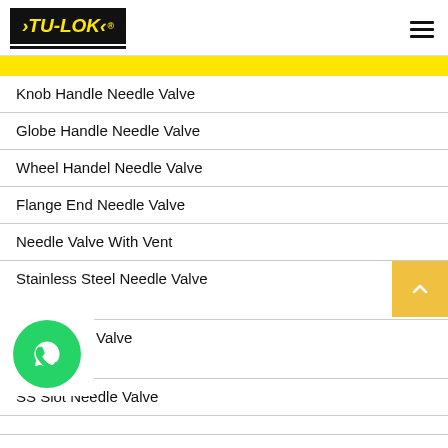[Figure (logo): TU-LOK logo with yellow arrow design on black background]
Knob Handle Needle Valve
Globe Handle Needle Valve
Wheel Handel Needle Valve
Flange End Needle Valve
Needle Valve With Vent
Stainless Steel Needle Valve
S... dle Valve
SS Slot Needle Valve